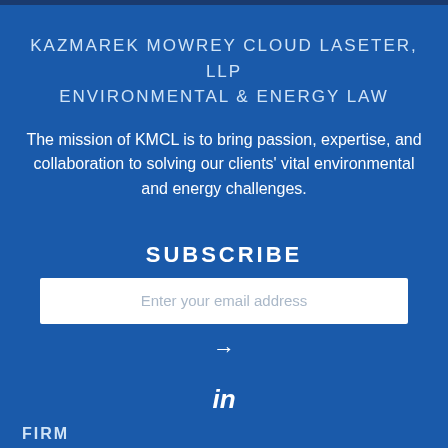KAZMAREK MOWREY CLOUD LASETER, LLP
ENVIRONMENTAL & ENERGY LAW
The mission of KMCL is to bring passion, expertise, and collaboration to solving our clients' vital environmental and energy challenges.
SUBSCRIBE
Enter your email address
[Figure (other): Right arrow icon for form submission]
[Figure (other): LinkedIn social media icon]
FIRM